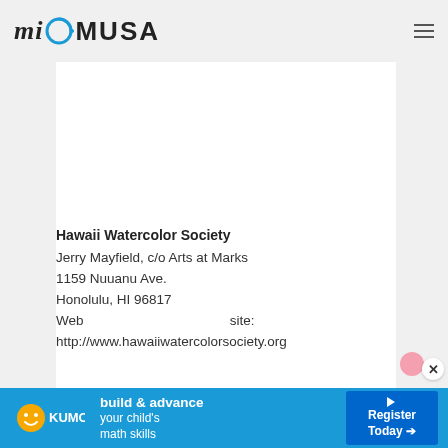miOMUSA
[Figure (screenshot): White content card area with blank upper portion]
Hawaii Watercolor Society
Jerry Mayfield, c/o Arts at Marks
1159 Nuuanu Ave.
Honolulu, HI 96817
Web site:
http://www.hawaiiwatercolorsociety.org
[Figure (illustration): Kumon advertisement banner at bottom: blue background with Kumon logo, text 'build & advance your child's math skills', and 'Register Today' button]